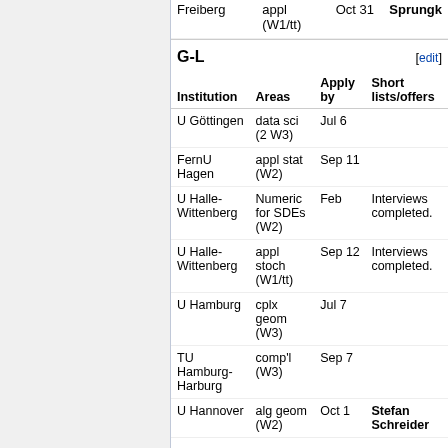TU Freiberg | appl (W1/tt) | Oct 31 | Sprungk
G-L
| Institution | Areas | Apply by | Short lists/offers |
| --- | --- | --- | --- |
| U Göttingen | data sci (2 W3) | Jul 6 |  |
| FernU Hagen | appl stat (W2) | Sep 11 |  |
| U Halle-Wittenberg | Numeric for SDEs (W2) | Feb | Interviews completed. |
| U Halle-Wittenberg | appl stoch (W1/tt) | Sep 12 | Interviews completed. |
| U Hamburg | cplx geom (W3) | Jul 7 |  |
| TU Hamburg-Harburg | comp'l (W3) | Sep 7 |  |
| U Hannover | alg geom (W2) | Oct 1 | Stefan Schreider |